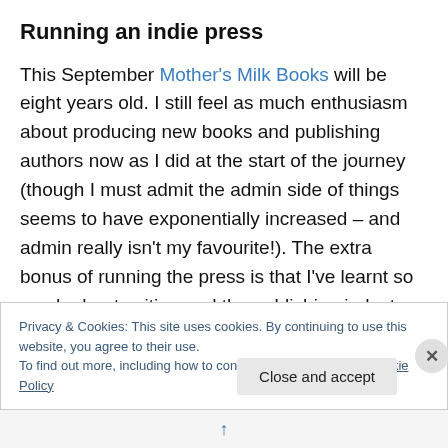Running an indie press
This September Mother's Milk Books will be eight years old. I still feel as much enthusiasm about producing new books and publishing authors now as I did at the start of the journey (though I must admit the admin side of things seems to have exponentially increased – and admin really isn't my favourite!). The extra bonus of running the press is that I've learnt so much about writing and the publishing industry – and how to get a foot in the door – that I now teach others on this subject (through workshops etc.). I've
Privacy & Cookies: This site uses cookies. By continuing to use this website, you agree to their use.
To find out more, including how to control cookies, see here: Cookie Policy